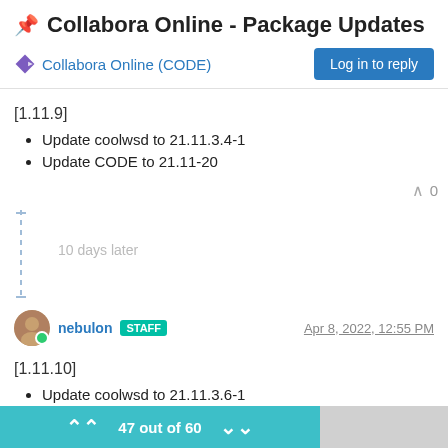📌 Collabora Online - Package Updates
Collabora Online (CODE)
Log in to reply
[1.11.9]
Update coolwsd to 21.11.3.4-1
Update CODE to 21.11-20
^ 0
10 days later
nebulon STAFF  Apr 8, 2022, 12:55 PM
[1.11.10]
Update coolwsd to 21.11.3.6-1
47 out of 60